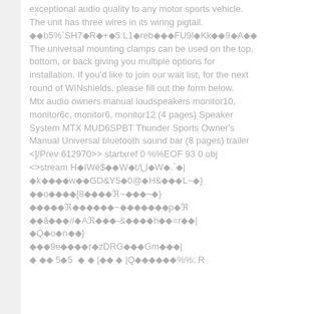exceptional audio quality to any motor sports vehicle. The unit has three wires in its wiring pigtail. ◆◆b5%`S97◆R◆+◆5:L1◆reb◆◆◆FU9l◆Kk◆◆9◆A◆◆ The universal mounting clamps can be used on the top, bottom, or back giving you multiple options for installation. If you'd like to join our wait list, for the next round of WINshields, please fill out the form below. Mtx audio owners manual loudspeakers monitor10, monitor6c, monitor6, monitor12 (4 pages) Speaker System MTX MUD6SPBT Thunder Sports Owner's Manual Universal bluetooth sound bar (8 pages) trailer <]/Prev 612970>> startxref 0 %%EOF 93 0 obj <>stream H◆IW¸$◆◆W◆t/⊃◆W◆.`◆| ◆k◆◆◆◆w◆◆GD&Y5◆0@◆H&◆◆◆L~◆} ◆◆o◆◆◆◆[8◆◆◆◆ℜ~◆◆◆~◆} ◆◆◆◆◆ℜ◆◆◆◆◆◆~◆◆◆◆◆◆◆p◆ℜ ◆◆ã◆◆◆#◆Aℜ◆◆◆-&◆◆◆◆h◆◆=r◆◆| ◆Q◆o◆n◆◆} ◆◆◆9e◆◆◆◆r◆zDRG◆◆◆Gm◆◆◆|